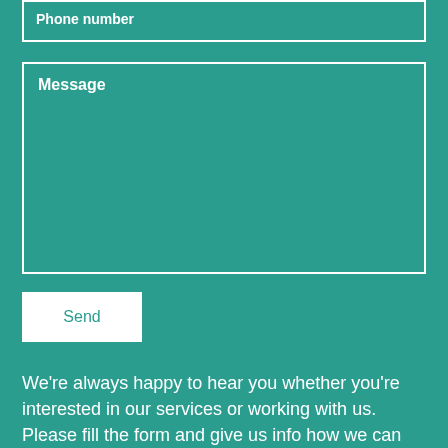Phone number
Message
Send
We're always happy to hear you whether you're interested in our services or working with us. Please fill the form and give us info how we can assist you, or